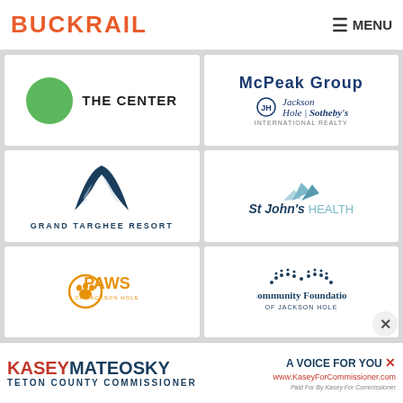[Figure (logo): Buckrail news website logo in orange/red bold uppercase text]
[Figure (logo): The Center logo - green circle with THE CENTER text]
[Figure (logo): McPeak Group Jackson Hole Sotheby's International Realty logo]
[Figure (logo): Grand Targhee Resort logo - dark teal mountain/wing shape with GRAND TARGHEE RESORT text]
[Figure (logo): St John's Health logo - blue mountain peaks with St John's HEALTH text]
[Figure (logo): PAWS of Jackson Hole logo - orange paw print circle with PAWS OF JACKSON HOLE text]
[Figure (logo): Community Foundation of Jackson Hole logo - dotted arc pattern above text]
[Figure (logo): Kasey Mateosky Teton County Commissioner advertisement banner]